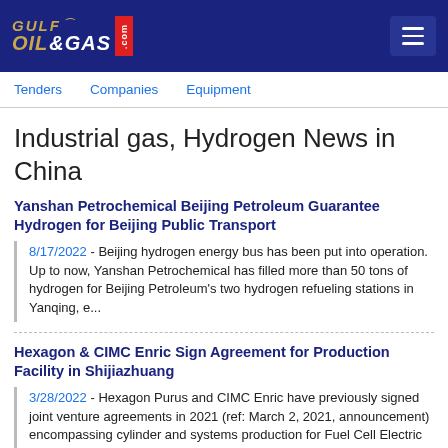GULF OIL & GAS .com
Industrial gas, Hydrogen News in China
Yanshan Petrochemical Beijing Petroleum Guarantee Hydrogen for Beijing Public Transport
8/17/2022 - Beijing hydrogen energy bus has been put into operation. Up to now, Yanshan Petrochemical has filled more than 50 tons of hydrogen for Beijing Petroleum's two hydrogen refueling stations in Yanqing, e...
Hexagon & CIMC Enric Sign Agreement for Production Facility in Shijiazhuang
3/28/2022 - Hexagon Purus and CIMC Enric have previously signed joint venture agreements in 2021 (ref: March 2, 2021, announcement) encompassing cylinder and systems production for Fuel Cell Electric Vehicles (FC...